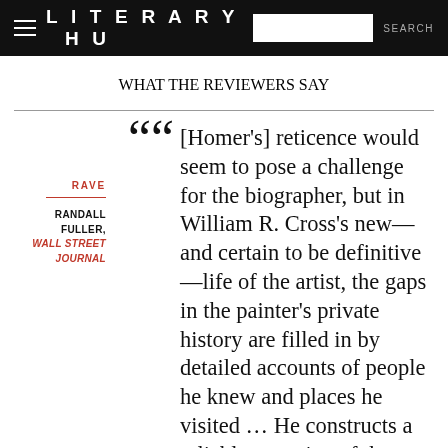LITERARY HU  SEARCH
WHAT THE REVIEWERS SAY
RAVE
RANDALL FULLER, WALL STREET JOURNAL
[Homer's] reticence would seem to pose a challenge for the biographer, but in William R. Cross's new—and certain to be definitive—life of the artist, the gaps in the painter's private history are filled in by detailed accounts of people he knew and places he visited ... He constructs a reliable narrative of the artist's movements and residences, of his friendships and financial arrangements and, most important, of his shift from fluent magazine illustrator